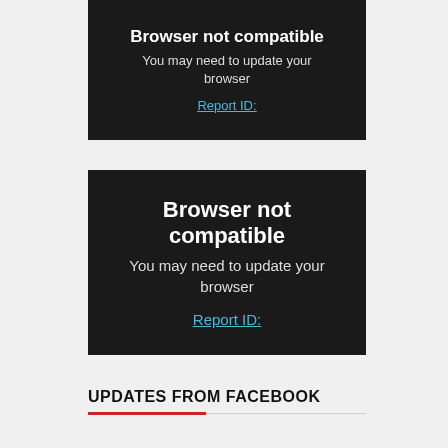[Figure (screenshot): Black box showing 'Browser not compatible' error message with subtitle 'You may need to update your browser' and a 'Report ID:' link (top, partially visible)]
[Figure (screenshot): Black box showing 'Browser not compatible' error message with subtitle 'You may need to update your browser' and a 'Report ID:' link]
UPDATES FROM FACEBOOK